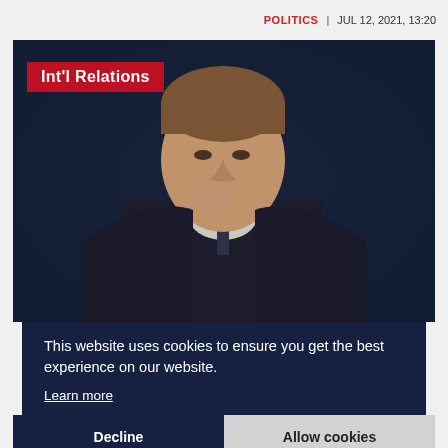POLITICS | JUL 12, 2021, 13:20
[Figure (photo): Photo of a man in a dark suit sitting at a table with a dark blue curtain background, hand raised to chin in a thoughtful pose. A red badge reading 'Int'l Relations' is overlaid in the top left corner.]
This website uses cookies to ensure you get the best experience on our website.
Learn more
Decline
Allow cookies
POLITICS | JUL 6, 2021, 10:45